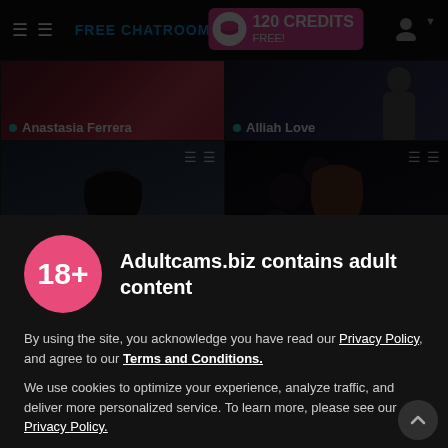FREE CHATROOMS | 120 CREDITS FREE!
[Figure (screenshot): Live cam grid showing top row: Anastasia Ferrera (red background), Alliah Love (dark background); bottom row: dark-haired woman in white shirt, woman with long auburn hair near cherry blossoms]
Adultcams.biz contains adult content
By using the site, you acknowledge you have read our Privacy Policy, and agree to our Terms and Conditions.
We use cookies to optimize your experience, analyze traffic, and deliver more personalized service. To learn more, please see our Privacy Policy.
I AGREE